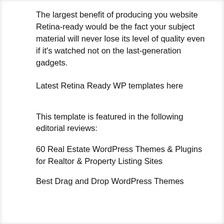The largest benefit of producing you website Retina-ready would be the fact your subject material will never lose its level of quality even if it's watched not on the last-generation gadgets.
Latest Retina Ready WP templates here
This template is featured in the following editorial reviews:
60 Real Estate WordPress Themes & Plugins for Realtor & Property Listing Sites
Best Drag and Drop WordPress Themes